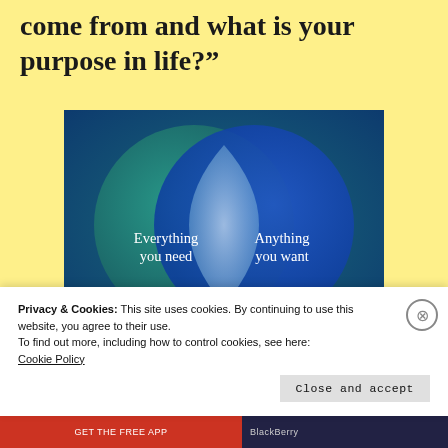come from and what is your purpose in life?”
[Figure (infographic): Venn diagram with two overlapping circles on a dark teal/blue gradient background. Left circle (teal/green) labeled 'Everything you need'. Right circle (blue) labeled 'Anything you want'. Overlapping intersection is a lighter blue/white lens shape.]
Privacy & Cookies: This site uses cookies. By continuing to use this website, you agree to their use.
To find out more, including how to control cookies, see here:
Cookie Policy
Close and accept